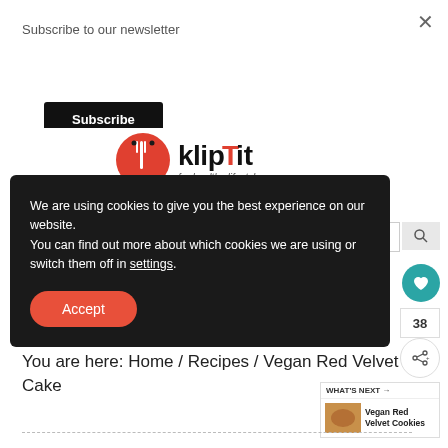Subscribe to our newsletter
Subscribe
[Figure (logo): KlipTit logo with red circle fork icon and text 'klipTit for healthy lifestyle']
We are using cookies to give you the best experience on our website.
You can find out more about which cookies we are using or switch them off in settings.
Accept
38
You are here: Home / Recipes / Vegan Red Velvet Cake
WHAT'S NEXT → Vegan Red Velvet Cookies